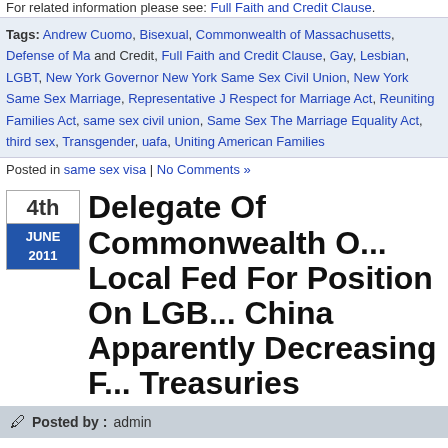For related information please see: Full Faith and Credit Clause.
Tags: Andrew Cuomo, Bisexual, Commonwealth of Massachusetts, Defense of Ma and Credit, Full Faith and Credit Clause, Gay, Lesbian, LGBT, New York Governor New York Same Sex Civil Union, New York Same Sex Marriage, Representative J Respect for Marriage Act, Reuniting Families Act, same sex civil union, Same Sex The Marriage Equality Act, third sex, Transgender, uafa, Uniting American Families
Posted in same sex visa | No Comments »
Delegate Of Commonwealth O... Local Fed For Position On LGB... China Apparently Decreasing F... Treasuries
Posted by : admin
I have sworn on the altar of God eternal hostility against every form o
–Thomas Jefferson (3rd President of the United States of America, Administration])
Gay rights are human rights,